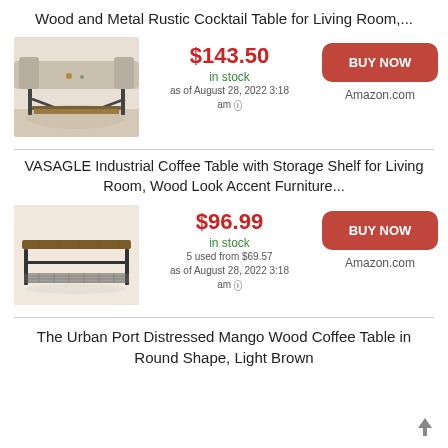Wood and Metal Rustic Cocktail Table for Living Room,...
$143.50 in stock as of August 28, 2022 3:18 am
[Figure (photo): Photo of a rustic wood and metal cocktail table with lower shelf, shown in a living room setting]
BUY NOW Amazon.com
VASAGLE Industrial Coffee Table with Storage Shelf for Living Room, Wood Look Accent Furniture...
$96.99 in stock 5 used from $69.57 as of August 28, 2022 3:18 am
[Figure (photo): Photo of a VASAGLE industrial coffee table with metal mesh lower shelf and wood-look top]
BUY NOW Amazon.com
The Urban Port Distressed Mango Wood Coffee Table in Round Shape, Light Brown